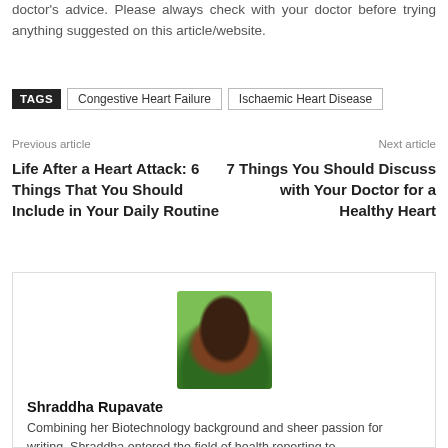doctor's advice. Please always check with your doctor before trying anything suggested on this article/website.
TAGS  Congestive Heart Failure  Ischaemic Heart Disease
Previous article
Next article
Life After a Heart Attack: 6 Things That You Should Include in Your Daily Routine
7 Things You Should Discuss with Your Doctor for a Healthy Heart
[Figure (photo): Portrait photo of Shraddha Rupavate, a young woman with dark hair, smiling, outdoors with green background]
Shraddha Rupavate
Combining her Biotechnology background and sheer passion for writing, Shraddha entered the field of health reporting to